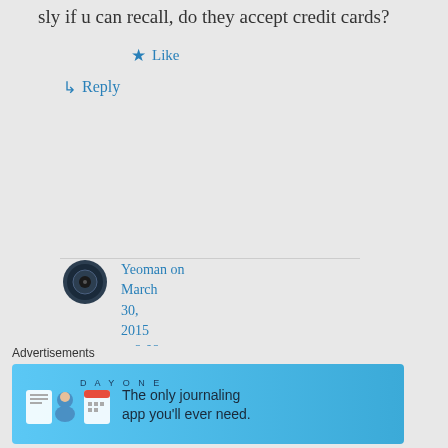sly if u can recall, do they accept credit cards?
★ Like
↳ Reply
Yeoman on March 30, 2015 at 9:09
Advertisements
[Figure (screenshot): DAY ONE app advertisement banner: The only journaling app you'll ever need.]